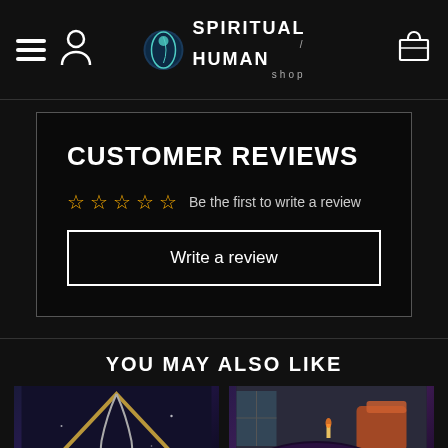Spiritual/Human Shop
CUSTOMER REVIEWS
☆☆☆☆☆ Be the first to write a review
Write a review
YOU MAY ALSO LIKE
[Figure (photo): Necklace with moon pendant displayed in a triangular pyramid frame with chain]
[Figure (photo): Round galaxy/space-themed rug on floor with orange chairs in background]